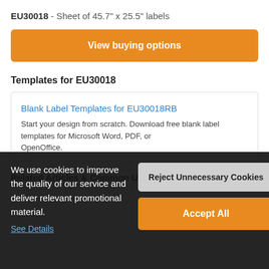EU30018 - Sheet of 45.7" x 25.5" labels
View buying options
Templates for EU30018
Blank Label Templates for EU30018RB
Start your design from scratch. Download free blank label templates for Microsoft Word, PDF, or OpenOffice.
We use cookies to improve the quality of our service and deliver relevant promotional material.
See Details
Reject Unnecessary Cookies
Accept All
Related Articles & Common Uses for EU30018RB